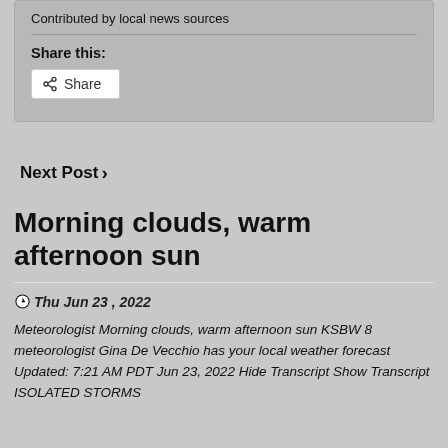Contributed by local news sources
Share this:
Share
Next Post ›
Morning clouds, warm afternoon sun
Thu Jun 23 , 2022
Meteorologist Morning clouds, warm afternoon sun KSBW 8 meteorologist Gina De Vecchio has your local weather forecast Updated: 7:21 AM PDT Jun 23, 2022 Hide Transcript Show Transcript ISOLATED STORMS